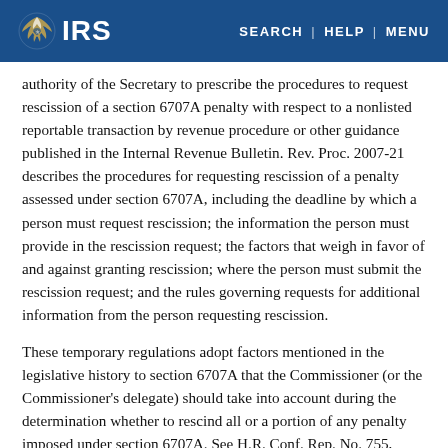IRS | SEARCH | HELP | MENU
authority of the Secretary to prescribe the procedures to request rescission of a section 6707A penalty with respect to a nonlisted reportable transaction by revenue procedure or other guidance published in the Internal Revenue Bulletin. Rev. Proc. 2007-21 describes the procedures for requesting rescission of a penalty assessed under section 6707A, including the deadline by which a person must request rescission; the information the person must provide in the rescission request; the factors that weigh in favor of and against granting rescission; where the person must submit the rescission request; and the rules governing requests for additional information from the person requesting rescission.
These temporary regulations adopt factors mentioned in the legislative history to section 6707A that the Commissioner (or the Commissioner's delegate) should take into account during the determination whether to rescind all or a portion of any penalty imposed under section 6707A. See H.R. Conf. Rep. No. 755, 108th Cong., 2d Sess., at 599 (2004). Factors that these regulations identify